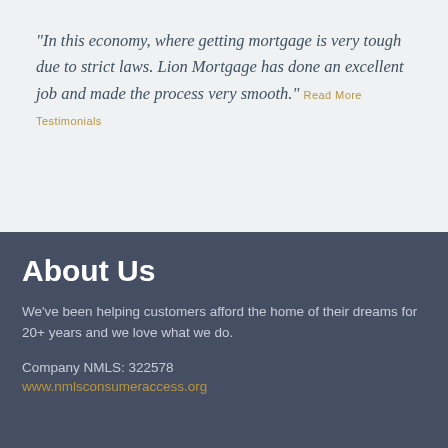"In this economy, where getting mortgage is very tough due to strict laws. Lion Mortgage has done an excellent job and made the process very smooth." Read More Testimonials
About Us
We've been helping customers afford the home of their dreams for 20+ years and we love what we do.
Company NMLS: 322578
www.nmlsconsumeraccess.org